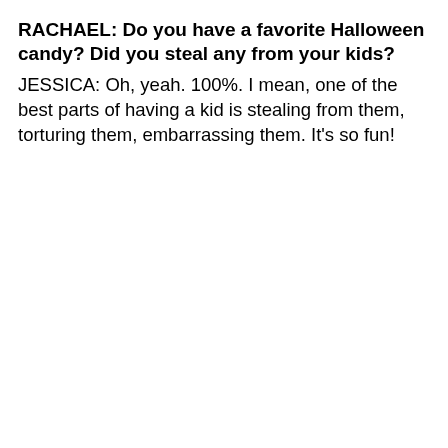RACHAEL: Do you have a favorite Halloween candy? Did you steal any from your kids?
JESSICA: Oh, yeah. 100%. I mean, one of the best parts of having a kid is stealing from them, torturing them, embarrassing them. It's so fun!